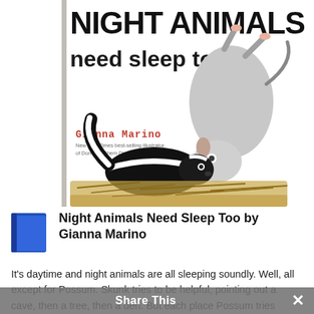[Figure (illustration): Book cover of 'Night Animals Need Sleep Too' by Gianna Marino. Shows title text in large bold/uppercase letters, author name in red monospaced font, an illustrated possum hanging upside down and a skunk near a nest made of twigs, on a white background.]
Night Animals Need Sleep Too by Gianna Marino
It's daytime and night animals are all sleeping soundly. Well, all except for Possum. Skunk tries to be helpful, pointing out a cave, then a tree, then a den. But each place Possum tries